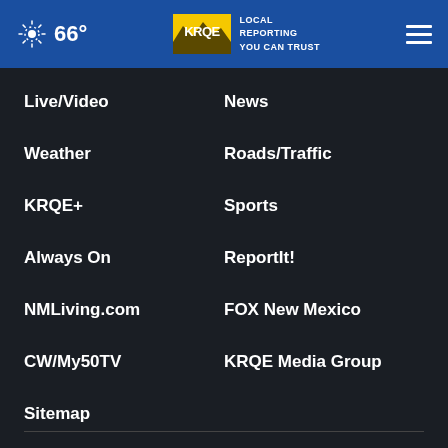66° KRQE LOCAL REPORTING YOU CAN TRUST
Live/Video
News
Weather
Roads/Traffic
KRQE+
Sports
Always On
ReportIt!
NMLiving.com
FOX New Mexico
CW/My50TV
KRQE Media Group
Sitemap